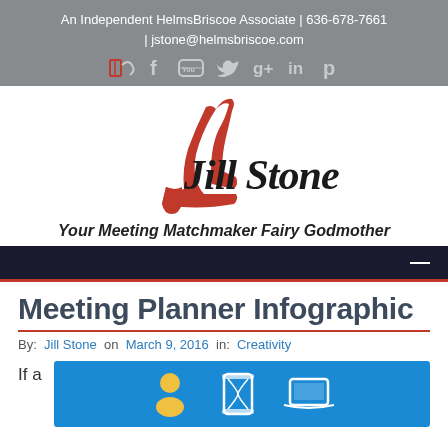An Independent HelmsBriscoe Associate | 636-678-7661 | jstone@helmsbriscoe.com
[Figure (logo): Jill Stone logo — red high-heel shoe with cursive 'Jill Stone' text]
Your Meeting Matchmaker Fairy Godmother
Meeting Planner Infographic
By: Jill Stone on March 9, 2016 in: Creativity
If a
[Figure (infographic): Meeting planner infographic with blue background showing icons: person silhouette, hourglass/timer, and a laptop/screen icon]